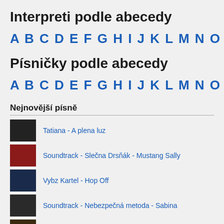Interpreti podle abecedy
A B C D E F G H I J K L M N O P Q R S T U
Písničky podle abecedy
A B C D E F G H I J K L M N O P Q R S T U
Nejnovější písně
Tatiana - A plena luz
Soundtrack - Slečna Drsňák - Mustang Sally
Vybz Kartel - Hop Off
Soundtrack - Nebezpečná metoda - Sabina
DBSK - Love Is All I Need
Chipmunks Version - Heart And Soul